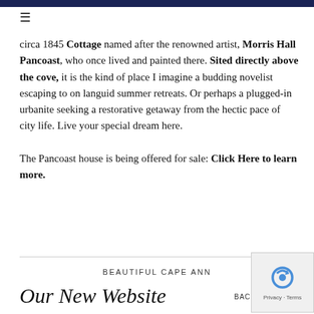≡
circa 1845 Cottage named after the renowned artist, Morris Hall Pancoast, who once lived and painted there. Sited directly above the cove, it is the kind of place I imagine a budding novelist escaping to on languid summer retreats. Or perhaps a plugged-in urbanite seeking a restorative getaway from the hectic pace of city life. Live your special dream here.

The Pancoast house is being offered for sale: Click Here to learn more.
BEAUTIFUL CAPE ANN
Our New Website
BACK TO TOP ↑